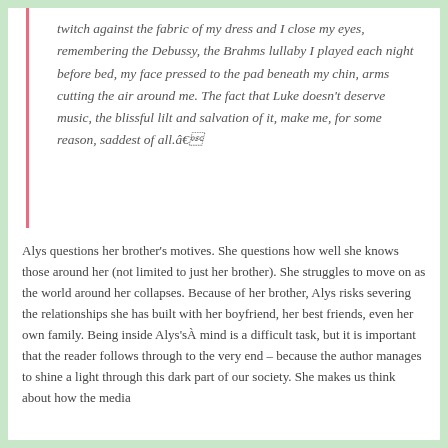twitch against the fabric of my dress and I close my eyes, remembering the Debussy, the Brahms lullaby I played each night before bed, my face pressed to the pad beneath my chin, arms cutting the air around me. The fact that Luke doesn't deserve music, the blissful lilt and salvation of it, make me, for some reason, saddest of all.â
Alys questions her brother's motives. She questions how well she knows those around her (not limited to just her brother). She struggles to move on as the world around her collapses. Because of her brother, Alys risks severing the relationships she has built with her boyfriend, her best friends, even her own family. Being inside Alys'sÂ mind is a difficult task, but it is important that the reader follows through to the very end – because the author manages to shine a light through this dark part of our society. She makes us think about how the media